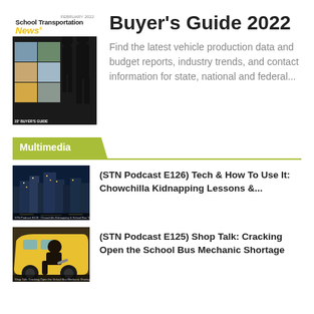[Figure (photo): School Transportation News magazine cover showing 2022 Buyer's Guide with silhouetted figures and grid of student photos]
Buyer's Guide 2022
Find the latest vehicle production data and budget reports, industry trends, and contact information for state, national and federal...
Multimedia
[Figure (photo): Night cityscape with glowing lights - thumbnail for STN Podcast E126]
(STN Podcast E126) Tech & How To Use It: Chowchilla Kidnapping Lessons &...
[Figure (photo): Mechanic working under a school bus - thumbnail for STN Podcast E125]
(STN Podcast E125) Shop Talk: Cracking Open the School Bus Mechanic Shortage